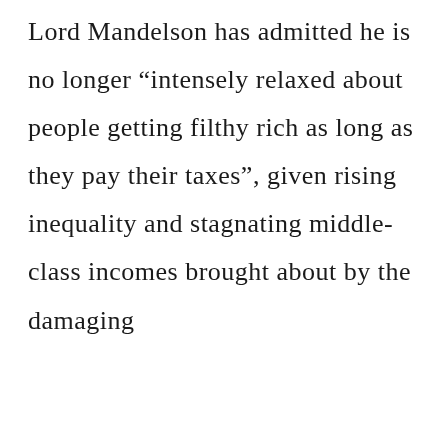Lord Mandelson has admitted he is no longer "intensely relaxed about people getting filthy rich as long as they pay their taxes", given rising inequality and stagnating middle-class incomes brought about by the damaging